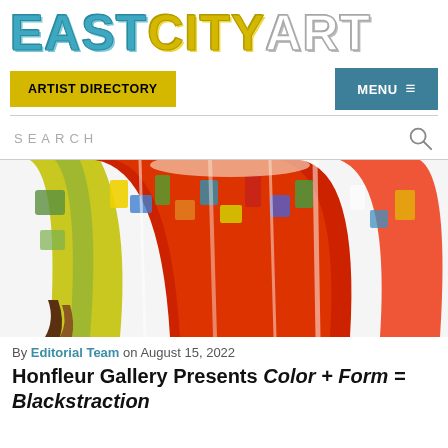[Figure (logo): EastCityArt logo in large stylized block letters: EAST in teal, CITY in yellow, ART in white/grey outline]
ARTIST DIRECTORY | MENU ≡
SEARCH
[Figure (photo): Colorful printed fabric garment with abstract multicolor pattern in red, yellow, green, blue hanging in folds against white background]
By Editorial Team on August 15, 2022
Honfleur Gallery Presents Color + Form = Blackstraction